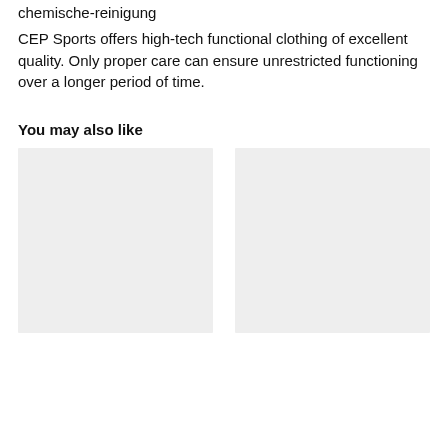chemische-reinigung
CEP Sports offers high-tech functional clothing of excellent quality. Only proper care can ensure unrestricted functioning over a longer period of time.
You may also like
[Figure (photo): Two product image placeholder boxes displayed side by side]